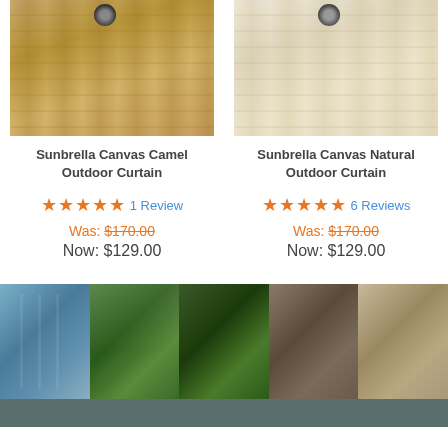[Figure (photo): Sunbrella Canvas Camel Outdoor Curtain - close-up of tan/camel colored fabric with grommet]
[Figure (photo): Sunbrella Canvas Natural Outdoor Curtain - close-up of cream/natural colored fabric with grommet]
Sunbrella Canvas Camel Outdoor Curtain
Sunbrella Canvas Natural Outdoor Curtain
★★★★★ 1 Review
★★★★★ 6 Reviews
Was: $170.00
Was: $170.00
Now: $129.00
Now: $129.00
[Figure (photo): Gallery image 1: outdoor pergola with white curtains along pool area]
[Figure (photo): Gallery image 2: outdoor gazebo with draping white curtains over water garden]
[Figure (photo): Gallery image 3: view through dark curtains of garden/outdoor space]
[Figure (photo): Gallery image 4: plant arrangement with white curtains and wooden posts]
[Figure (photo): Gallery image 5: outdoor seating area with draping white curtains and decor]